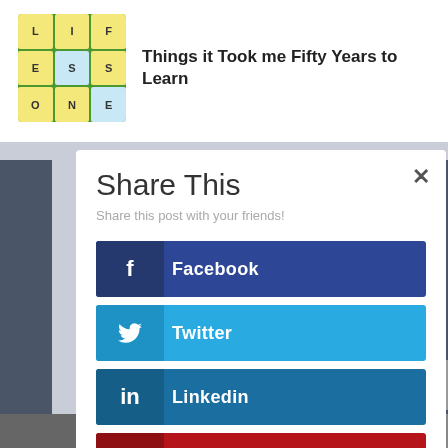[Figure (photo): Article thumbnail with colorful letter tiles on green background]
Things it Took me Fifty Years to Learn
Share This
Share this post with your friends!
Facebook
Twitter
Linkedin
Pinterest
Gmail